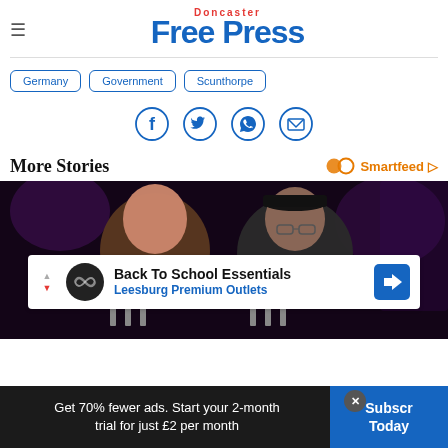Doncaster Free Press
Germany
Government
Scunthorpe
[Figure (infographic): Social sharing icons: Facebook, Twitter, WhatsApp, Email — circular outlined icons in blue]
More Stories
[Figure (infographic): Smartfeed icon with orange infinity/double-circle logo and play button]
[Figure (photo): Two men smiling in a dimly lit bar or venue with purple accent lighting and beer taps in the background. An advertisement overlay for 'Back To School Essentials — Leesburg Premium Outlets' appears at the bottom of the image.]
Get 70% fewer ads. Start your 2-month trial for just £2 per month
Subscribe Today